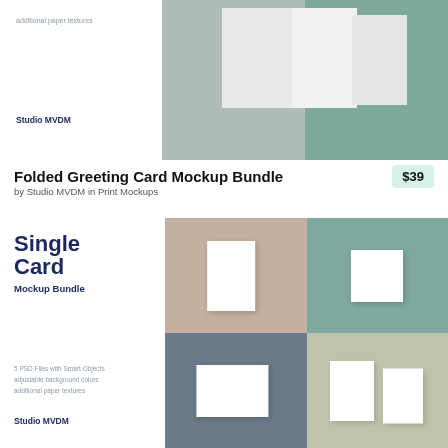[Figure (photo): Top portion of a product listing showing folded greeting cards mockup with grey and green background panels]
Folded Greeting Card Mockup Bundle
by Studio MVDM in Print Mockups
$39
[Figure (photo): Single Card Mockup Bundle product image showing four mockup scenes: vertical card on beige, square card on teal, landscape card on slate, two cards on light sage — with product text 'Single Card Mockup Bundle', '5 PSD Files with Smart Objects, adjustable background colors, additional paper textures', 'Studio MVDM']